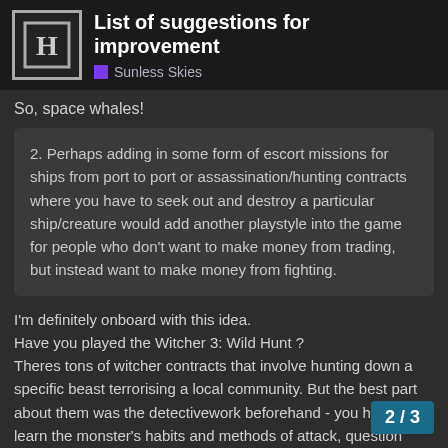List of suggestions for improvement — Sunless Skies
So, space whales!
2. Perhaps adding in some form of escort missions for ships from port to port or assassination/hunting contracts where you have to seek out and destroy a particular ship/creature would add another playstyle into the game for people who don't want to make money from trading, but instead want to make money from fighting.
I'm definitely onboard with this idea.
Have you played the Witcher 3: Wild Hunt ?
Theres tons of witcher contracts that involve hunting down a specific beast terrorising a local community. But the best part about them was the detectivework beforehand - you have to learn the monster's habits and methods of attack, question witnesses,figure out how it lives and locate its nest. It's a great system that allows injecting narrative into a mechanic of &quotgo here kill this&quot qu
2 / 3